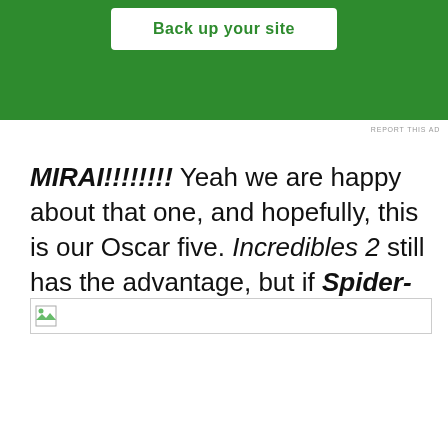[Figure (other): Green advertisement banner with a white button labeled 'Back up your site']
REPORT THIS AD
MIRAI!!!!!!!!! Yeah we are happy about that one, and hopefully, this is our Oscar five. Incredibles 2 still has the advantage, but if Spider-Verse can win, look out.
[Figure (other): Broken image placeholder with small image icon]